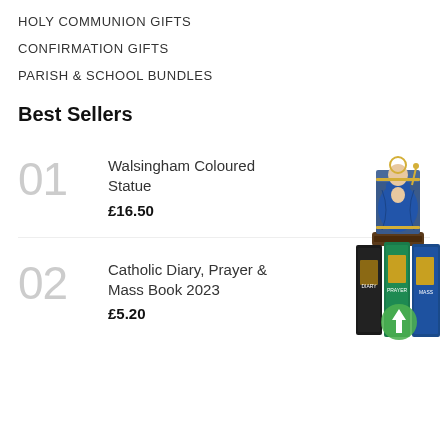HOLY COMMUNION GIFTS
CONFIRMATION GIFTS
PARISH & SCHOOL BUNDLES
Best Sellers
01 Walsingham Coloured Statue £16.50
[Figure (photo): Photo of Walsingham Coloured Statue, a seated Madonna and child religious figurine with blue robes on a dark throne]
02 Catholic Diary, Prayer & Mass Book 2023 £5.20
[Figure (photo): Photo of Catholic Diary, Prayer & Mass Book 2023, showing book covers in green, red, and blue standing upright with a green circle arrow overlay]